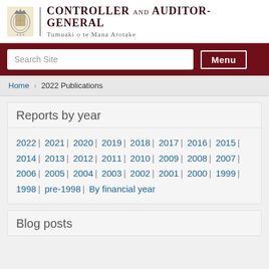[Figure (logo): New Zealand Controller and Auditor-General crest logo with text]
Controller and Auditor-General | Tumuaki o te Mana Arotake
Search Site | Menu
Home > 2022 Publications
Reports by year
2022 | 2021 | 2020 | 2019 | 2018 | 2017 | 2016 | 2015 | 2014 | 2013 | 2012 | 2011 | 2010 | 2009 | 2008 | 2007 | 2006 | 2005 | 2004 | 2003 | 2002 | 2001 | 2000 | 1999 | 1998 | pre-1998 | By financial year
Blog posts